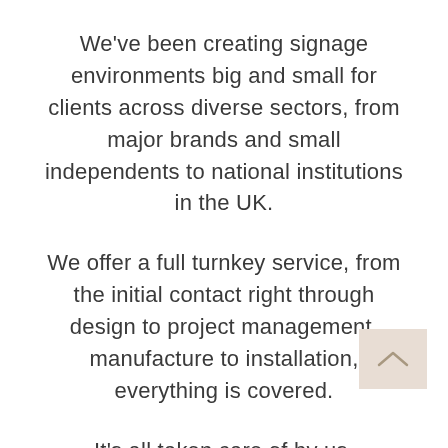We've been creating signage environments big and small for clients across diverse sectors, from major brands and small independents to national institutions in the UK.
We offer a full turnkey service, from the initial contact right through design to project management, manufacture to installation, everything is covered.
It's all taken care of by us.